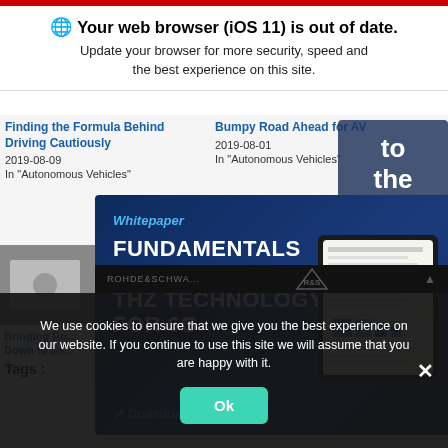Your web browser (iOS 11) is out of date. Update your browser for more security, speed and the best experience on this site.
Finding the Formula Behind Driving Cautiously
2019-08-09
In "Autonomous Vehicles"
Bumpy Road Ahead for AV
2019-08-01
In "Autonomous Vehicles"
to the Site
[Figure (screenshot): Whitepaper ad for Fundamentals of THz Technology for 6G by Rohde & Schwarz, with dark blue background and document thumbnail]
Whitepaper
FUNDAMENTALS OF THZ TECHNOLOGY FOR 6G
Download Now
Bringing Ro... Down to Ea...
Tags :
We use cookies to ensure that we give you the best experience on our website. If you continue to use this site we will assume that you are happy with it.
Ok